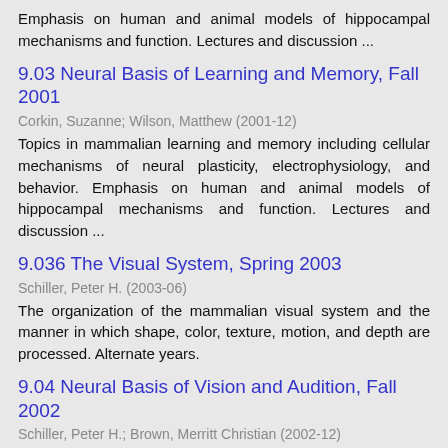Emphasis on human and animal models of hippocampal mechanisms and function. Lectures and discussion ...
9.03 Neural Basis of Learning and Memory, Fall 2001
Corkin, Suzanne; Wilson, Matthew (2001-12)
Topics in mammalian learning and memory including cellular mechanisms of neural plasticity, electrophysiology, and behavior. Emphasis on human and animal models of hippocampal mechanisms and function. Lectures and discussion ...
9.036 The Visual System, Spring 2003
Schiller, Peter H. (2003-06)
The organization of the mammalian visual system and the manner in which shape, color, texture, motion, and depth are processed. Alternate years.
9.04 Neural Basis of Vision and Audition, Fall 2002
Schiller, Peter H.; Brown, Merritt Christian (2002-12)
Examines the neural bases of visual and auditory processing for perception and sensorimotor control. Focuses on physiological and anatomical studies of the mammalian nervous system as well as behavioral studies of animals ...